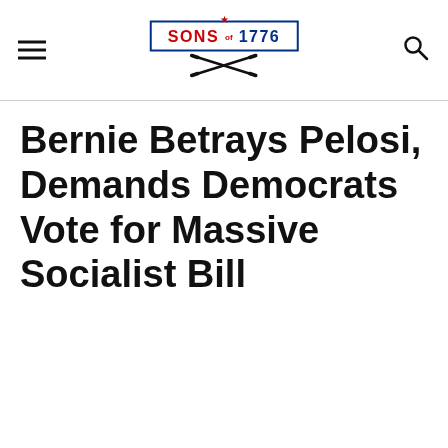Sons of 1776 — website header with logo, hamburger menu, and search icon
Bernie Betrays Pelosi, Demands Democrats Vote for Massive Socialist Bill